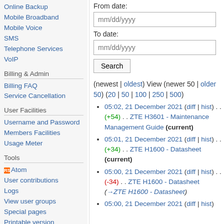Online Backup
Mobile Broadband
Mobile Voice
SMS
Telephone Services
VoIP
Billing & Admin
Billing FAQ
Service Cancellation
User Facilities
Username and Password
Members Facilities
Usage Meter
Tools
Atom
User contributions
Logs
View user groups
Special pages
Printable version
From date:
mm/dd/yyyy
To date:
mm/dd/yyyy
(newest | oldest) View (newer 50 | older 50) (20 | 50 | 100 | 250 | 500)
05:02, 21 December 2021 (diff | hist) . . (+54) . . ZTE H3601 - Maintenance Management Guide (current)
05:01, 21 December 2021 (diff | hist) . . (+34) . . ZTE H1600 - Datasheet (current)
05:00, 21 December 2021 (diff | hist) . . (-34) . . ZTE H1600 - Datasheet (→ZTE H1600 - Datasheet)
05:00, 21 December 2021 (diff | hist)